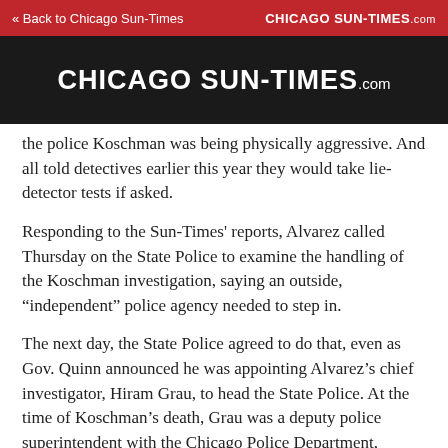« Back to Chicago Sun-Times   CHICAGO SUN-TIMES.com
[Figure (logo): Chicago Sun-Times.com masthead logo in white text on dark background]
the police Koschman was being physically aggressive. And all told detectives earlier this year they would take lie-detector tests if asked.
Responding to the Sun-Times' reports, Alvarez called Thursday on the State Police to examine the handling of the Koschman investigation, saying an outside, “independent” police agency needed to step in.
The next day, the State Police agreed to do that, even as Gov. Quinn announced he was appointing Alvarez’s chief investigator, Hiram Grau, to head the State Police. At the time of Koschman’s death, Grau was a deputy police superintendent with the Chicago Police Department,